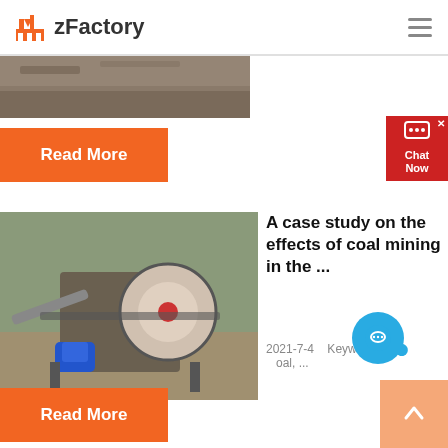zFactory
[Figure (photo): Partial top image strip showing ground/road surface cropped at top of page]
Read More
[Figure (photo): Industrial jaw crusher machine with blue motor in outdoor setting]
A case study on the effects of coal mining in the ...
2021-7-4   Keywords: Coal, ...
Read More